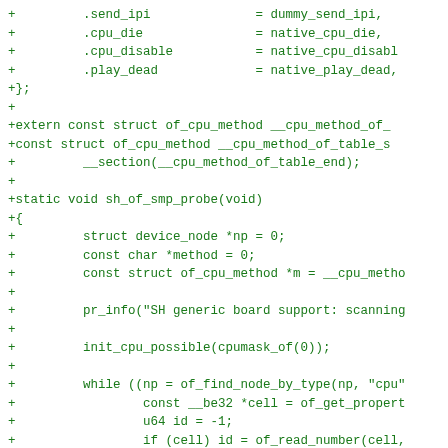Code diff showing additions to sh_of_smp probe function including struct fields, extern declarations, and while loop logic for CPU node detection.